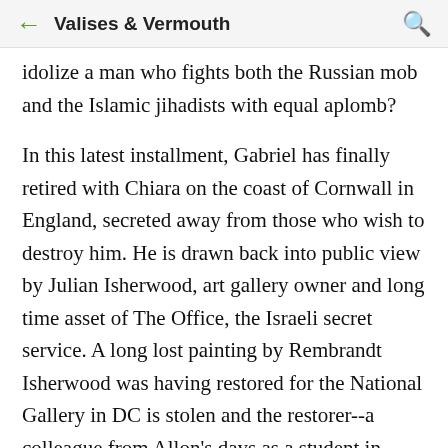Valises & Vermouth
idolize a man who fights both the Russian mob and the Islamic jihadists with equal aplomb?
In this latest installment, Gabriel has finally retired with Chiara on the coast of Cornwall in England, secreted away from those who wish to destroy him. He is drawn back into public view by Julian Isherwood, art gallery owner and long time asset of The Office, the Israeli secret service. A long lost painting by Rembrandt Isherwood was having restored for the National Gallery in DC is stolen and the restorer--a colleague from Allon's days as a student in Italy--is killed. Isherwood